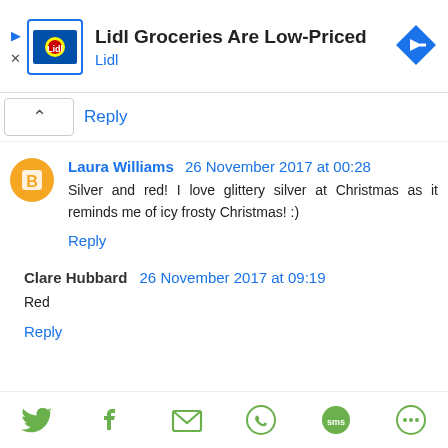[Figure (screenshot): Lidl advertisement banner with Lidl logo, title 'Lidl Groceries Are Low-Priced', subtitle 'Lidl', and a blue navigation arrow icon on the right]
Reply
Laura Williams  26 November 2017 at 00:28
Silver and red! I love glittery silver at Christmas as it reminds me of icy frosty Christmas! :)
Reply
Clare Hubbard  26 November 2017 at 09:19
Red
Reply
[Figure (infographic): Social sharing icon bar with Twitter, Facebook, email, WhatsApp, SMS, and another share icon — all in green]